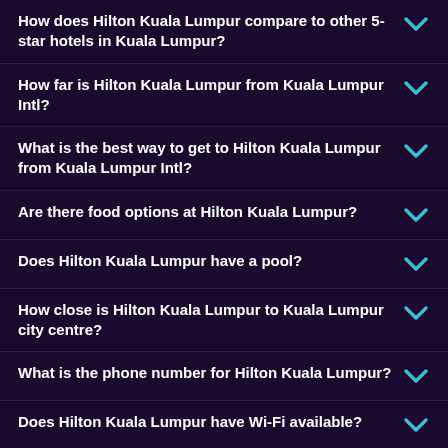How does Hilton Kuala Lumpur compare to other 5-star hotels in Kuala Lumpur?
How far is Hilton Kuala Lumpur from Kuala Lumpur Intl?
What is the best way to get to Hilton Kuala Lumpur from Kuala Lumpur Intl?
Are there food options at Hilton Kuala Lumpur?
Does Hilton Kuala Lumpur have a pool?
How close is Hilton Kuala Lumpur to Kuala Lumpur city centre?
What is the phone number for Hilton Kuala Lumpur?
Does Hilton Kuala Lumpur have Wi-Fi available?